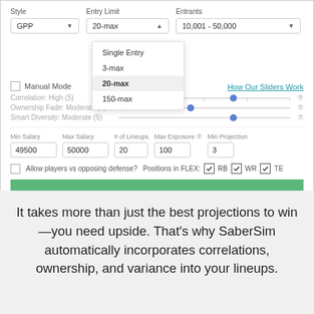[Figure (screenshot): Screenshot of a DFS (daily fantasy sports) lineup builder UI showing Style (GPP), Entry Limit (20-max dropdown open with options: Single Entry, 3-max, 20-max selected, 150-max), Entrants (10,001-50,000), Manual Mode checkbox, Correlation/Ownership/Smart Diversity sliders, Min/Max Salary, # of Lineups, Max Exposure, Min Projection fields, Allow players vs opposing defense checkbox, Positions in FLEX checkboxes (RB, WR, TE), and a green BUILD YOUR LINEUP POOL button.]
It takes more than just the best projections to win—you need upside. That's why SaberSim automatically incorporates correlations, ownership, and variance into your lineups.